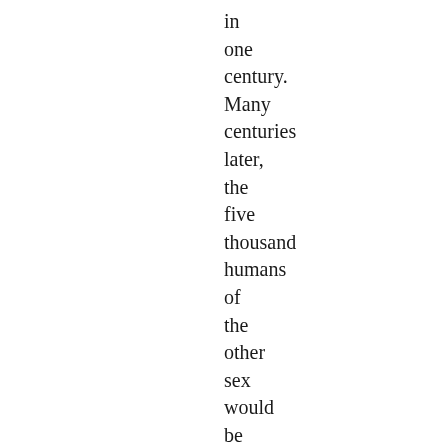in one century. Many centuries later, the five thousand humans of the other sex would be reared. Imagine that you learn you're one of the